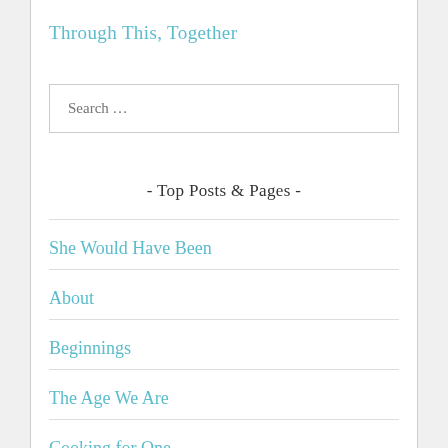Through This, Together
Search …
- Top Posts & Pages -
She Would Have Been
About
Beginnings
The Age We Are
Cooking for One